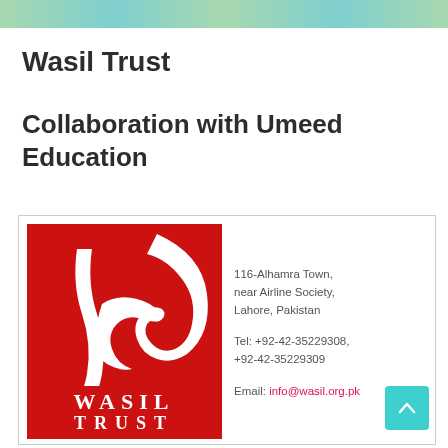Wasil Trust
Collaboration with Umeed Education
[Figure (logo): Wasil Trust logo — red rectangle background with white Arabic calligraphy and 'WASIL TRUST' in white text at the bottom]
116-Alhamra Town, near Airline Society, Lahore, Pakistan
Tel: +92-42-35229308, +92-42-35229309
Email: info@wasil.org.pk